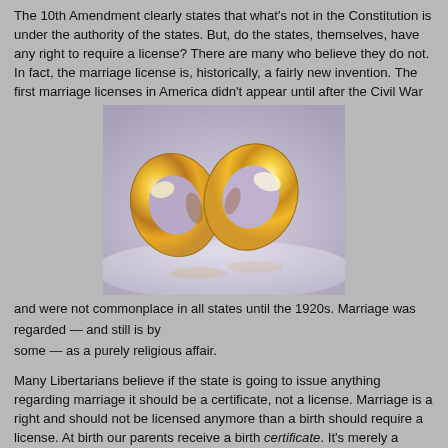The 10th Amendment clearly states that what's not in the Constitution is under the authority of the states. But, do the states, themselves, have any right to require a license? There are many who believe they do not. In fact, the marriage license is, historically, a fairly new invention. The first marriage licenses in America didn't appear until after the Civil War
[Figure (photo): Two gold wedding rings photographed on a light surface with soft lighting and reflections.]
and were not commonplace in all states until the 1920s. Marriage was regarded — and still is by some — as a purely religious affair.
Many Libertarians believe if the state is going to issue anything regarding marriage it should be a certificate, not a license. Marriage is a right and should not be licensed anymore than a birth should require a license. At birth our parents receive a birth certificate. It's merely a record of a notable event that can be carried forward in life as proof of the event for any entity that requires it, but one should no more be required to obtain a license to marry than to be born.
Although the history of licensing marriage is murky the origins of what entity invented the license is not. The first marriage licenses came from states and spread to other states. They did not come from the federal government therefore it's folly to believe that the federal government has any jurisdiction whatsoever